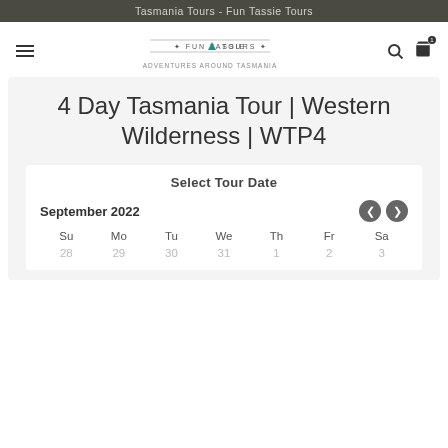Tasmania Tours - Fun Tassie Tours
[Figure (logo): Fun Tassie Tours logo with navigation icons (hamburger menu, search, cart)]
4 Day Tasmania Tour | Western Wilderness | WTP4
Select Tour Date
| Su | Mo | Tu | We | Th | Fr | Sa |
| --- | --- | --- | --- | --- | --- | --- |
| 28 | 29 | 30 | 31 | 1 | 2 | 3 |